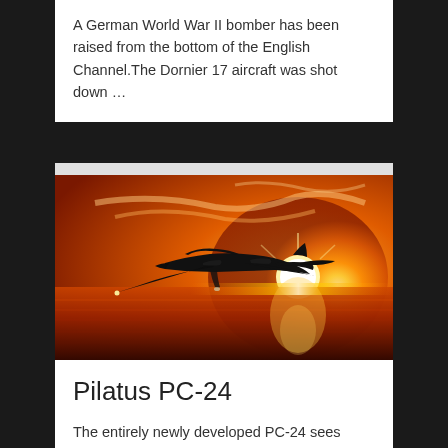A German World War II bomber has been raised from the bottom of the English Channel.The Dornier 17 aircraft was shot down …
[Figure (photo): A dark jet aircraft silhouetted against a dramatic orange sunset sky over a reflective water surface, flying at low altitude]
Pilatus PC-24
The entirely newly developed PC-24 sees traditional Pilatus values of  versatility, efficiency and Swiss precision brought together